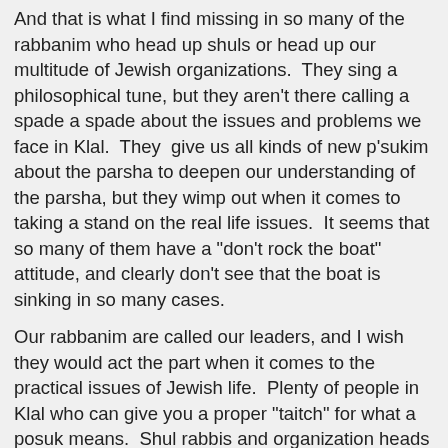And that is what I find missing in so many of the rabbanim who head up shuls or head up our multitude of Jewish organizations.  They sing a philosophical tune, but they aren't there calling a spade a spade about the issues and problems we face in Klal.  They  give us all kinds of new p'sukim about the parsha to deepen our understanding of the parsha, but they wimp out when it comes to taking a stand on the real life issues.  It seems that so many of them have a "don't rock the boat" attitude, and clearly don't see that the boat is sinking in so many cases.
Our rabbanim are called our leaders, and I wish they would act the part when it comes to the practical issues of Jewish life.  Plenty of people in Klal who can give you a proper "taitch" for what a posuk means.  Shul rabbis and organization heads need to go beyond that.  I certainly hope and pray that in this new year that is coming up for us that our so called "leaders" actually and finally prove that they understand the problems and issues facing us, and that they are willing to publicly raise their voices in calling for change and for repairs to a system that needs them.  I live in hope.
ProfK at 9:32 AM   8 comments: